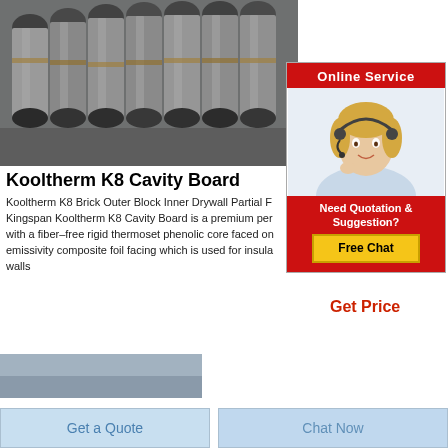[Figure (photo): Industrial graphite or carbon electrode rolls/cylinders stacked in rows in a warehouse or factory setting]
[Figure (infographic): Online Service popup with a customer service representative (woman with headset), red header saying 'Online Service', a 'Need Quotation & Suggestion?' section, and a yellow 'Free Chat' button]
Kooltherm K8 Cavity Board
Kooltherm K8 Brick Outer Block Inner Drywall Partial F Kingspan Kooltherm K8 Cavity Board is a premium per with a fiber–free rigid thermoset phenolic core faced on emissivity composite foil facing which is used for insula walls
Get Price
[Figure (photo): Partial view of an insulation board product at bottom of page]
Get a Quote
Chat Now